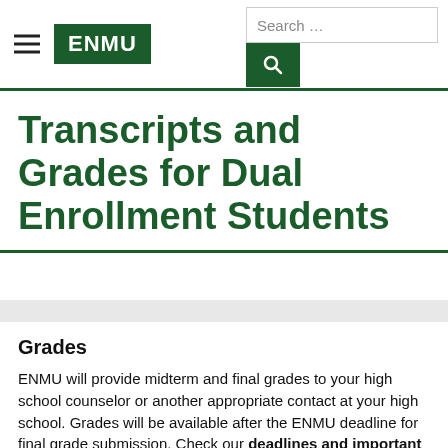ENMU — Search bar header
Transcripts and Grades for Dual Enrollment Students
Grades
ENMU will provide midterm and final grades to your high school counselor or another appropriate contact at your high school. Grades will be available after the ENMU deadline for final grade submission. Check our deadlines and important dates to find